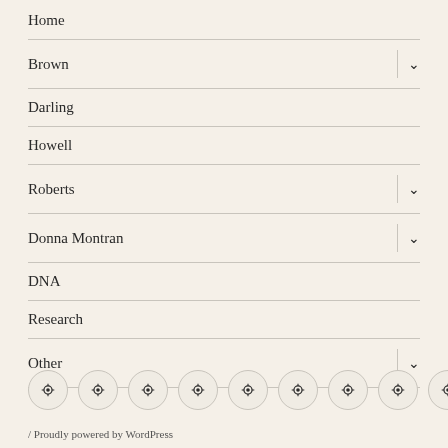Home
Brown
Darling
Howell
Roberts
Donna Montran
DNA
Research
Other
[Figure (other): Row of 9 circular social/profile icon buttons]
/ Proudly powered by WordPress